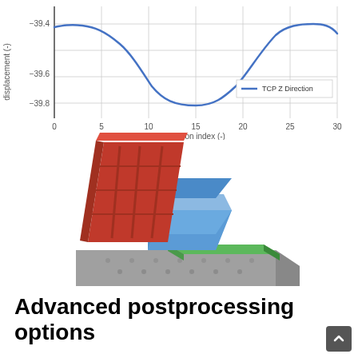[Figure (continuous-plot): Line chart showing TCP Z Direction displacement vs position index. Y-axis labeled 'displacement (-)' ranging from about -39.8 to -39.4. X-axis labeled 'position index (-)' ranging from 0 to 30. The blue curve forms a wave shape, starting near -39.4, dipping to about -39.8 around index 15, then rising back up. Legend: TCP Z Direction (blue line).]
[Figure (engineering-diagram): 3D rendering of a machine assembly with multiple colored components: a red/orange tilted angular structure on the left-back, a blue triangular/wedge component in the center, a green flat platform piece, and a gray textured base block. This appears to be a mechanical or robotic system component assembly.]
Advanced postprocessing options